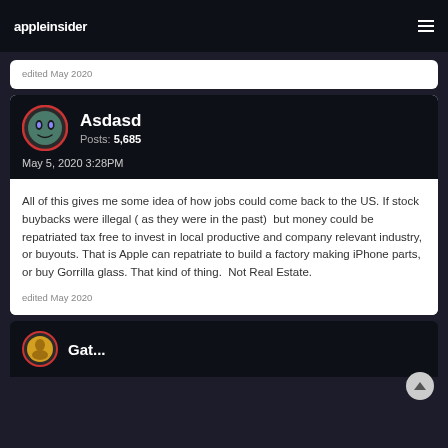appleinsider
edited May 2020
Asdasd
Posts: 5,685
May 5, 2020 3:28PM
All of this gives me some idea of how jobs could come back to the US. If stock buybacks were illegal ( as they were in the past)  but money could be repatriated tax free to invest in local productive and company relevant industry, or buyouts. That is Apple can repatriate to build a factory making iPhone parts, or buy Gorrilla glass. That kind of thing.  Not Real Estate.
edited May 2020